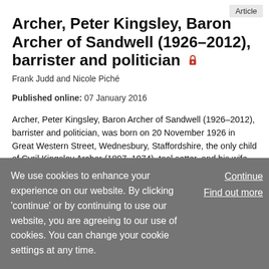Article
Archer, Peter Kingsley, Baron Archer of Sandwell (1926–2012), barrister and politician 🔒
Frank Judd and Nicole Piché
Published online: 07 January 2016
Archer, Peter Kingsley, Baron Archer of Sandwell (1926–2012), barrister and politician, was born on 20 November 1926 in Great Western Street, Wednesbury, Staffordshire, the only child of Cyril Kingsley Archer (1897–1974), tool setter, and his wife, May, née Baker (1896–1976). His parents
We use cookies to enhance your experience on our website. By clicking 'continue' or by continuing to use our website, you are agreeing to our use of cookies. You can change your cookie settings at any time.